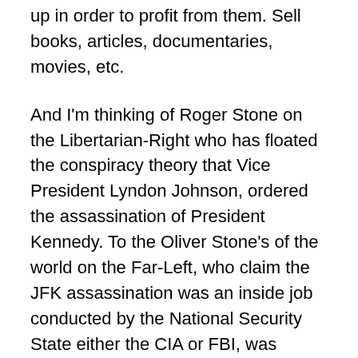up in order to profit from them. Sell books, articles, documentaries, movies, etc.
And I'm thinking of Roger Stone on the Libertarian-Right who has floated the conspiracy theory that Vice President Lyndon Johnson, ordered the assassination of President Kennedy. To the Oliver Stone's of the world on the Far-Left, who claim the JFK assassination was an inside job conducted by the National Security State either the CIA or FBI, was behind the assassination of President Kennedy.
As well as people on the Far-Left who believe that racist Southern right-wingers in Texas, were responsible for President Kennedy's assassination.
The only alternative theory to the official U.S. Government theory being that Lee Harvey Oswald was not only the killer and assassinated President Kennedy, but he was all